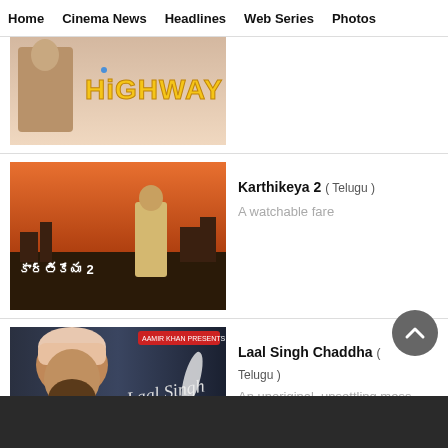Home  Cinema News  Headlines  Web Series  Photos
[Figure (photo): Highway movie poster showing a man and the word HIGHWAY in large yellow letters against a sky background]
[Figure (photo): Karthikeya 2 Telugu movie poster showing a hero standing in front of a ruined cityscape with Telugu script logo]
Karthikeya 2 ( Telugu )
A watchable fare
[Figure (photo): Laal Singh Chaddha movie poster showing Aamir Khan wearing a turban and the stylized film title]
Laal Singh Chaddha ( Telugu )
An unoriginal, unsettling mess
[Figure (photo): Partial view of another movie thumbnail at the bottom of the page]